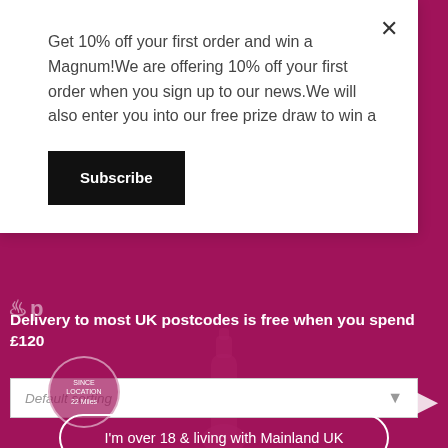Get 10% off your first order and win a Magnum!We are offering 10% off your first order when you sign up to our news.We will also enter you into our free prize draw to win a
Subscribe
Delivery to most UK postcodes is free when you spend £120
Default sorting
I'm over 18 & living with Mainland UK
View FAQs